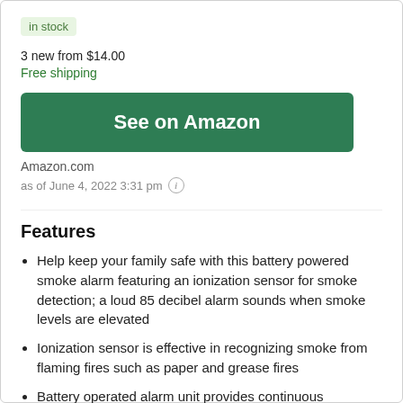in stock
3 new from $14.00
Free shipping
[Figure (other): Green 'See on Amazon' button]
Amazon.com
as of June 4, 2022 3:31 pm ⓘ
Features
Help keep your family safe with this battery powered smoke alarm featuring an ionization sensor for smoke detection; a loud 85 decibel alarm sounds when smoke levels are elevated
Ionization sensor is effective in recognizing smoke from flaming fires such as paper and grease fires
Battery operated alarm unit provides continuous